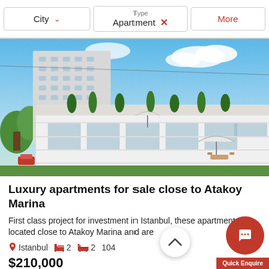City  |  Type: Apartment ✕  |  More
[Figure (photo): Aerial view of a modern white luxury apartment building complex with balconies, rooftop gardens, trees, and outdoor furniture. A tall residential tower is visible in the background against a blue sky.]
Luxury apartments for sale close to Atakoy Marina
First class project for investment in Istanbul, these apartments are located close to Atakoy Marina and are
Istanbul   2   2   104
$210,000